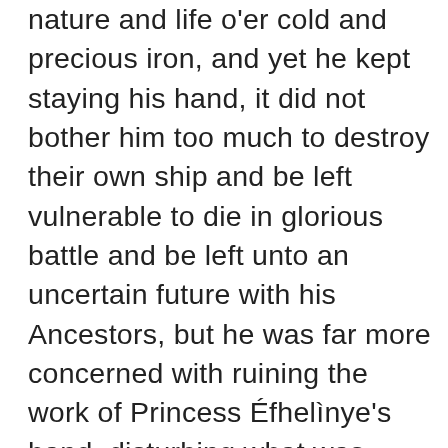nature and life o'er cold and precious iron, and yet he kept staying his hand, it did not bother him too much to destroy their own ship and be left vulnerable to die in glorious battle and be left unto an uncertain future with his Ancestors, but he was far more concerned with ruining the work of Princess Éfhelìnye's hand, disturbing what was rapidly becoming not just the cold calculations of the Qlùfhem bioscientists but the art and bliss of the Princess, and he would rather suffer a thousand deaths than disappoint her so. Éfhelìnye set aside her screwdriver key and scrambling about top of the motor she reached unto the takhtekhtíngtèngqor mainsprings and dashed them about, and all of the motor was glowing even as it licked against Puîyus and dumped